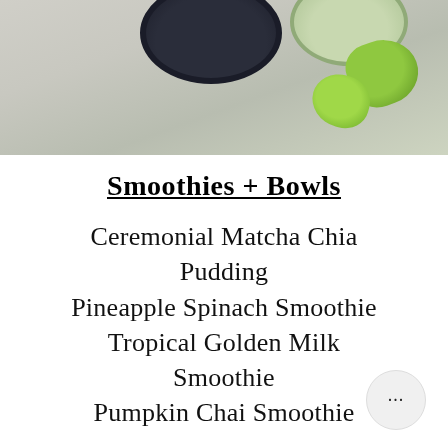[Figure (photo): Top portion of a food/beverage photo showing a dark bowl (likely chia pudding), a light green bowl, and cut kiwi fruit on a light marble/white surface.]
Smoothies + Bowls
Ceremonial Matcha Chia Pudding
Pineapple Spinach Smoothie
Tropical Golden Milk Smoothie
Pumpkin Chai Smoothie